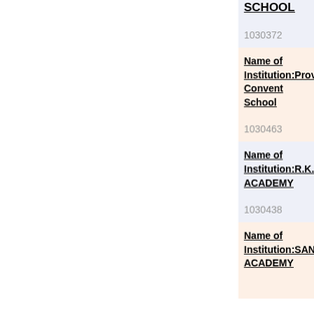SCHOOL
1030372
Name of Institution:Providence Convent School
1030463
Name of Institution:R.K.G ACADEMY
1030438
Name of Institution:SANVI ACADEMY